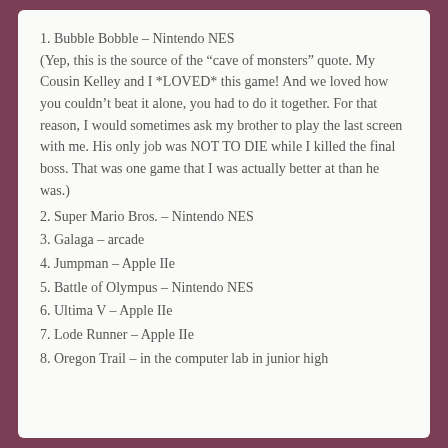1. Bubble Bobble – Nintendo NES
(Yep, this is the source of the “cave of monsters” quote. My Cousin Kelley and I *LOVED* this game! And we loved how you couldn’t beat it alone, you had to do it together. For that reason, I would sometimes ask my brother to play the last screen with me. His only job was NOT TO DIE while I killed the final boss. That was one game that I was actually better at than he was.)
2. Super Mario Bros. – Nintendo NES
3. Galaga – arcade
4. Jumpman – Apple IIe
5. Battle of Olympus – Nintendo NES
6. Ultima V – Apple IIe
7. Lode Runner – Apple IIe
8. Oregon Trail – in the computer lab in junior high